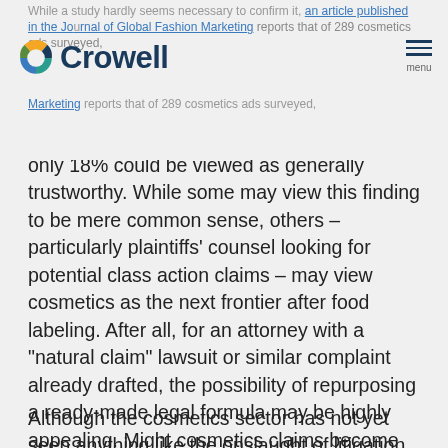While a study hardly seems necessary to confirm it, an article published in the Journal of Global Fashion Marketing reports that of 289 cosmetics ads surveyed, only 18% could be viewed as generally trustworthy.
[Figure (logo): Crowell law firm logo with circular icon and text 'Crowell']
only 18% could be viewed as generally trustworthy. While some may view this finding to be mere common sense, others – particularly plaintiffs' counsel looking for potential class action claims – may view cosmetics as the next frontier after food labeling. After all, for an attorney with a "natural claim" lawsuit or similar complaint already drafted, the possibility of repurposing a ready-made legal formula may be highly appealing. Might cosmetics claims become the target of a new wave of false advertising litigation, akin to the "food wars"?
Although the cosmetics sector has not yet seen anything like the onslaught of litigation visited upon